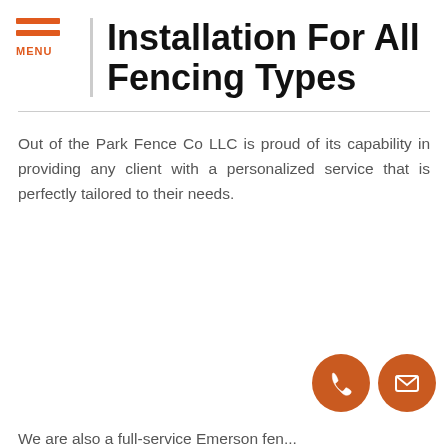MENU
Installation For All Fencing Types
Out of the Park Fence Co LLC is proud of its capability in providing any client with a personalized service that is perfectly tailored to their needs.
[Figure (illustration): Two circular orange icon buttons at bottom right: a phone handset icon and an envelope/mail icon]
We are also a full-service Emerson fen...